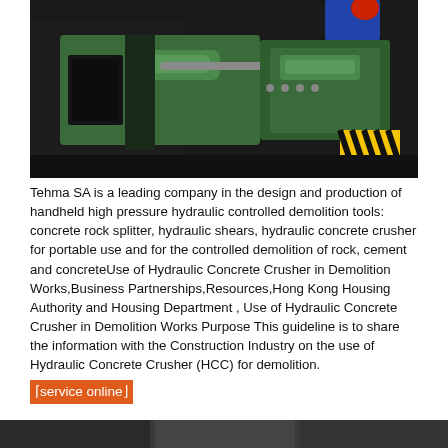[Figure (photo): Industrial green heavy machinery (lathe or hydraulic press) in a dark workshop, with a worker in blue visible at top right holding a red object.]
Tehma SA is a leading company in the design and production of handheld high pressure hydraulic controlled demolition tools: concrete rock splitter, hydraulic shears, hydraulic concrete crusher for portable use and for the controlled demolition of rock, cement and concreteUse of Hydraulic Concrete Crusher in Demolition Works,Business Partnerships,Resources,Hong Kong Housing Authority and Housing Department , Use of Hydraulic Concrete Crusher in Demolition Works Purpose This guideline is to share the information with the Construction Industry on the use of Hydraulic Concrete Crusher (HCC) for demolition.
⌈service online⌋
[Figure (photo): Bottom strip showing a dark industrial/machinery scene, partially visible.]